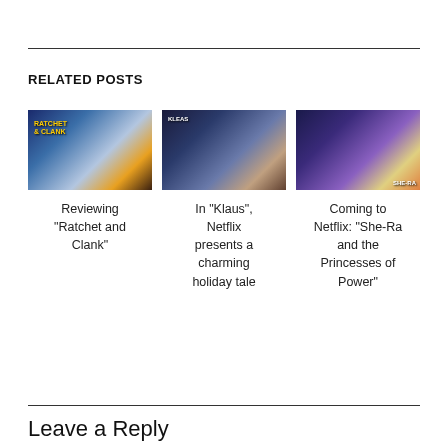RELATED POSTS
[Figure (photo): Ratchet and Clank movie poster/still showing animated characters]
Reviewing “Ratchet and Clank”
[Figure (photo): Klaus Netflix animated movie still showing figures in dark snowy scene]
In “Klaus”, Netflix presents a charming holiday tale
[Figure (photo): She-Ra animated character with glowing light and red cape]
Coming to Netflix: “She-Ra and the Princesses of Power”
Leave a Reply